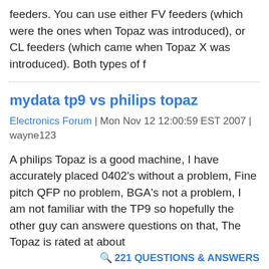feeders. You can use either FV feeders (which were the ones when Topaz was introduced), or CL feeders (which came when Topaz X was introduced). Both types of f
mydata tp9 vs philips topaz
Electronics Forum | Mon Nov 12 12:00:59 EST 2007 | wayne123
A philips Topaz is a good machine, I have accurately placed 0402's without a problem, Fine pitch QFP no problem, BGA's not a problem, I am not familiar with the TP9 so hopefully the other guy can answere questions on that, The Topaz is rated at about
221 QUESTIONS & ANSWERS